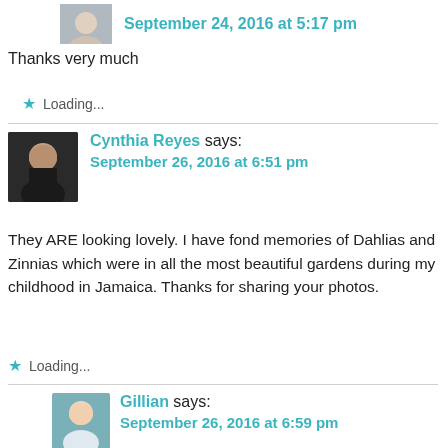[Figure (photo): Small circular/square avatar photo of a person at the top, partially cropped]
September 24, 2016 at 5:17 pm
Thanks very much
Loading...
[Figure (photo): Square avatar photo of Cynthia Reyes, a woman with dark hair wearing black]
Cynthia Reyes says:
September 26, 2016 at 6:51 pm
They ARE looking lovely. I have fond memories of Dahlias and Zinnias which were in all the most beautiful gardens during my childhood in Jamaica. Thanks for sharing your photos.
Loading...
[Figure (photo): Square avatar photo of Gillian, a woman with light hair smiling]
Gillian says:
September 26, 2016 at 6:59 pm